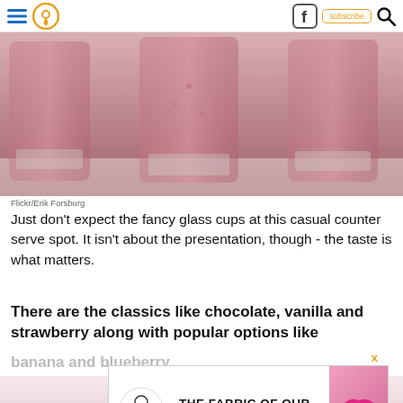Navigation bar with hamburger menu, location pin icon, Facebook icon, subscribe button, search icon
[Figure (photo): Three glasses filled with pink/strawberry smoothie on a light surface, photo credit Flickr/Erik Forsburg]
Flickr/Erik Forsburg
Just don't expect the fancy glass cups at this casual counter serve spot. It isn't about the presentation, though - the taste is what matters.
There are the classics like chocolate, vanilla and strawberry along with popular options like banana and blueberry
[Figure (advertisement): Cotton advertisement: THE FABRIC OF OUR HEALTHY LIVES. with cotton logo and pink underwear image]